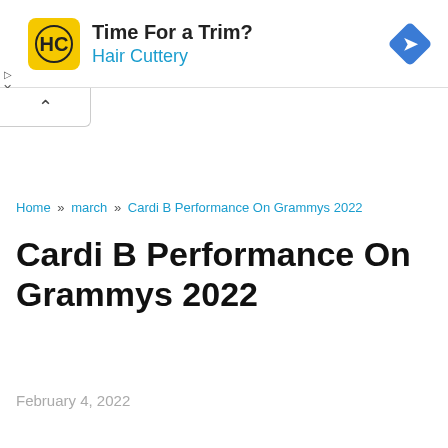[Figure (other): Hair Cuttery advertisement banner with logo, tagline 'Time For a Trim?', brand name 'Hair Cuttery', and a blue diamond navigation icon]
Home » march » Cardi B Performance On Grammys 2022
Cardi B Performance On Grammys 2022
February 4, 2022